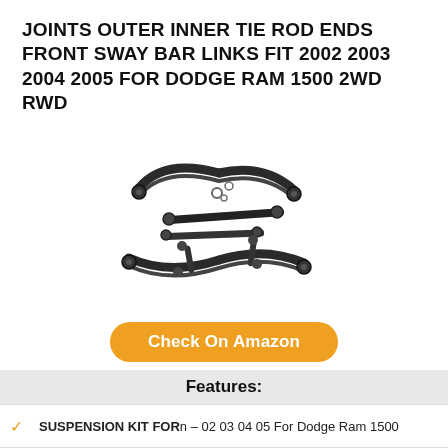JOINTS OUTER INNER TIE ROD ENDS FRONT SWAY BAR LINKS FIT 2002 2003 2004 2005 FOR DODGE RAM 1500 2WD RWD
[Figure (photo): Product photo showing a suspension kit with upper control arms, tie rod ends, sway bar links, and related parts for Dodge Ram 1500]
Check On Amazon
Features:
SUSPENSION KIT FORn – 02 03 04 05 For Dodge Ram 1500
WHAT INCLUDEDn – 2 x EV407 Front Inner Tie Rod End,2
Interchange Part Numbern – 5072958AA, 5072958AB,
ABOUT GREASEn – Any End Parts With Grease Fitting